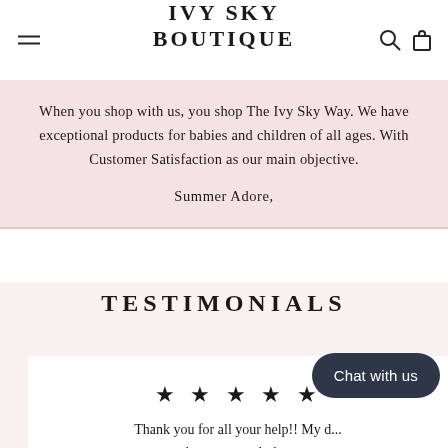IVY SKY BOUTIQUE
When you shop with us, you shop The Ivy Sky Way. We have exceptional products for babies and children of all ages. With Customer Satisfaction as our main objective.

Summer Adore,
TESTIMONIALS
★ ★ ★ ★ ★
Thank you for all your help!! My d... her new wardrobe.